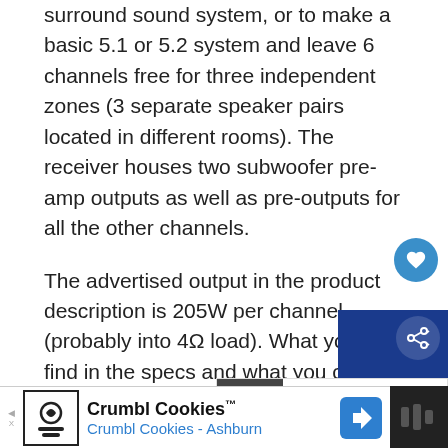surround sound system, or to make a basic 5.1 or 5.2 system and leave 6 channels free for three independent zones (3 separate speaker pairs located in different rooms). The receiver houses two subwoofer pre-amp outputs as well as pre-outputs for all the other channels.
The advertised output in the product description is 205W per channel (probably into 4Ω load). What you will find in the specs and what you can expect is 140W per channels into 8Ω load (2 channels driven, 0.05% THD).
SR8012 supports all the Dolby Digital and DTS surround sound audio formats, including DTS:X (and DTS Virtual:X) and Dolby Atmos. The receiver also supports IMAX Enhanced and Aura 3D.
[Figure (other): Heart/favorite button (circular blue button with white heart icon)]
[Figure (other): Share widget - dark blue panel with share icon]
[Figure (other): What's Next panel showing '6 Best AV Receivers F...' with thumbnail]
[Figure (other): Advertisement bar - Crumbl Cookies, Crumbl Cookies - Ashburn]